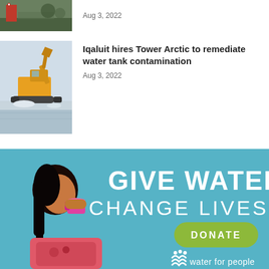[Figure (photo): Partial news thumbnail at top of page, partially cropped, showing outdoor scene with red sign and trees]
Aug 3, 2022
[Figure (photo): Yellow excavator working in snowy/icy conditions near water]
Iqaluit hires Tower Arctic to remediate water tank contamination
Aug 3, 2022
[Figure (photo): Water for People donation advertisement showing a young girl drinking from a pink cup against a blue wall. Text reads: GIVE WATER CHANGE LIVES with a DONATE button and Water for People logo at bottom.]